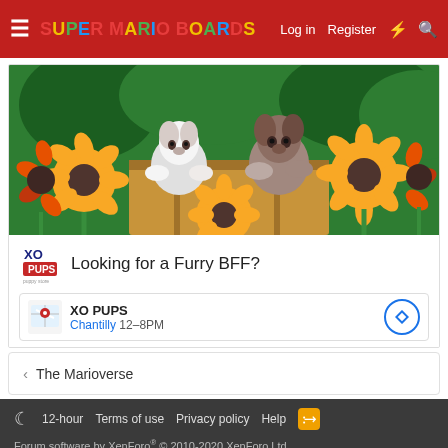Super Mario Boards — Log in  Register
[Figure (photo): Advertisement photo showing two puppies sitting among sunflowers in a wooden crate with a garden background. Below the photo: XO Pups logo and text 'Looking for a Furry BFF?' with store details: XO PUPS, Chantilly 12-8PM]
Looking for a Furry BFF?
XO PUPS
Chantilly 12–8PM
< The Marioverse
12-hour  Terms of use  Privacy policy  Help
Forum software by XenForo® © 2010-2020 XenForo Ltd.
Design by: Pixel Exit